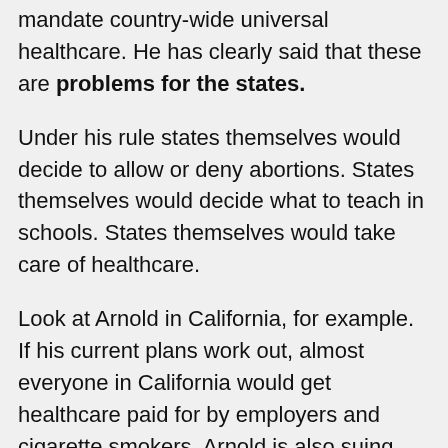mandate country-wide universal healthcare. He has clearly said that these are problems for the states.
Under his rule states themselves would decide to allow or deny abortions. States themselves would decide what to teach in schools. States themselves would take care of healthcare.
Look at Arnold in California, for example. If his current plans work out, almost everyone in California would get healthcare paid for by employers and cigarette smokers. Arnold is also suing the federal government to allow California to set stricter air pollution standards. There's no need to wait for the federal government.
This, to me, seems like a much better approach. If a religious nut like Huckabee were to become President, he would no doubt force his own religious beliefs into schools all over the country. If you wanted to fight against it, you wouldn't be able to. Lobbying the federal government is a long, expensive process. Lobbying the state